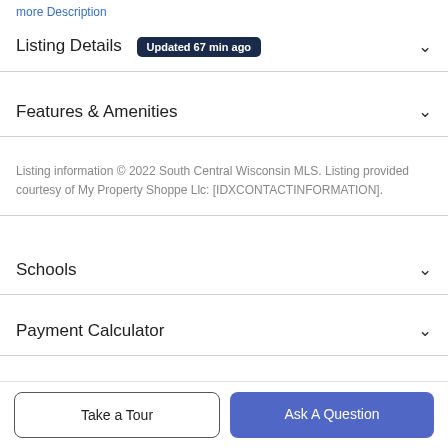more Description
Listing Details  Updated 67 min ago
Features & Amenities
Listing information © 2022 South Central Wisconsin MLS. Listing provided courtesy of My Property Shoppe Llc: [IDXCONTACTINFORMATION].
Schools
Payment Calculator
Contact Agent
Take a Tour
Ask A Question